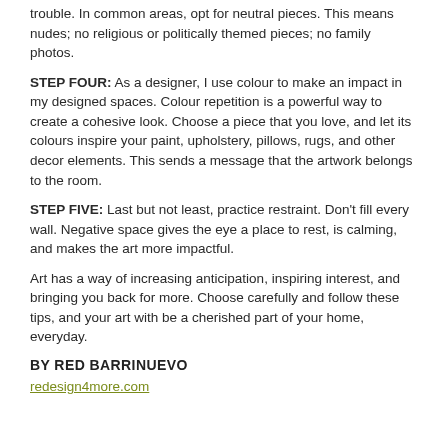trouble. In common areas, opt for neutral pieces. This means nudes; no religious or politically themed pieces; no family photos.
STEP FOUR: As a designer, I use colour to make an impact in my designed spaces. Colour repetition is a powerful way to create a cohesive look. Choose a piece that you love, and let its colours inspire your paint, upholstery, pillows, rugs, and other decor elements. This sends a message that the artwork belongs to the room.
STEP FIVE: Last but not least, practice restraint. Don't fill every wall. Negative space gives the eye a place to rest, is calming, and makes the art more impactful.
Art has a way of increasing anticipation, inspiring interest, and bringing you back for more. Choose carefully and follow these tips, and your art with be a cherished part of your home, everyday.
BY RED BARRINUEVO
redesign4more.com